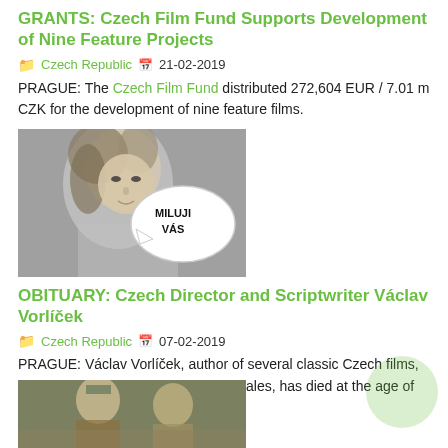GRANTS: Czech Film Fund Supports Development of Nine Feature Projects
Czech Republic  21-02-2019
PRAGUE: The Czech Film Fund distributed 272,604 EUR / 7.01 m CZK for the development of nine feature films.
[Figure (photo): Black and white photo of a woman with a speech bubble reading MILUJI VÁS]
OBITUARY: Czech Director and Scriptwriter Václav Vorlíček
Czech Republic  07-02-2019
PRAGUE: Václav Vorlíček, author of several classic Czech films, especially crazy comedies and fairy tales, has died at the age of 88.
[Figure (photo): Color photo of two men outdoors, partially visible at bottom of page]